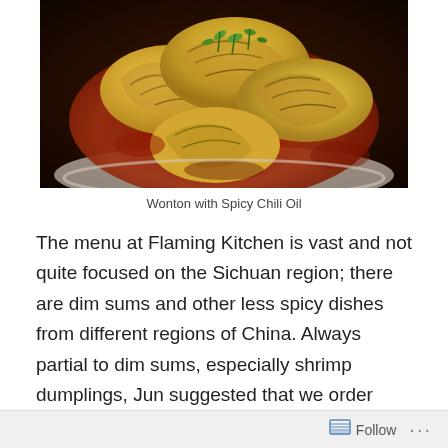[Figure (photo): Close-up photo of wontons in a white bowl, covered in a dark reddish-brown spicy chili oil sauce, garnished with chopped green onions on top.]
Wonton with Spicy Chili Oil
The menu at Flaming Kitchen is vast and not quite focused on the Sichuan region; there are dim sums and other less spicy dishes from different regions of China. Always partial to dim sums, especially shrimp dumplings, Jun suggested that we order one. Bad idea. The shells were too thick and the size of shrimp inside
Follow ...